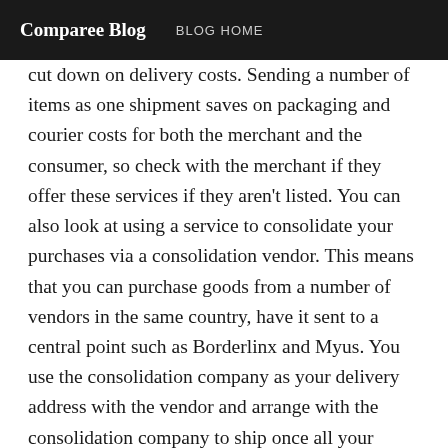Comparee Blog  BLOG HOME
cut down on delivery costs. Sending a number of items as one shipment saves on packaging and courier costs for both the merchant and the consumer, so check with the merchant if they offer these services if they aren't listed. You can also look at using a service to consolidate your purchases via a consolidation vendor. This means that you can purchase goods from a number of vendors in the same country, have it sent to a central point such as Borderlinx and Myus. You use the consolidation company as your delivery address with the vendor and arrange with the consolidation company to ship once all your parcels have arrived. Your items can then be consolidated and sent as one parcel to your destination, saving you on shipping costs, duties,